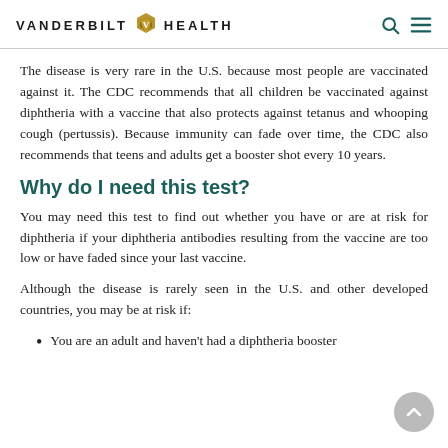VANDERBILT HEALTH
The disease is very rare in the U.S. because most people are vaccinated against it. The CDC recommends that all children be vaccinated against diphtheria with a vaccine that also protects against tetanus and whooping cough (pertussis). Because immunity can fade over time, the CDC also recommends that teens and adults get a booster shot every 10 years.
Why do I need this test?
You may need this test to find out whether you have or are at risk for diphtheria if your diphtheria antibodies resulting from the vaccine are too low or have faded since your last vaccine.
Although the disease is rarely seen in the U.S. and other developed countries, you may be at risk if:
You are an adult and haven't had a diphtheria booster